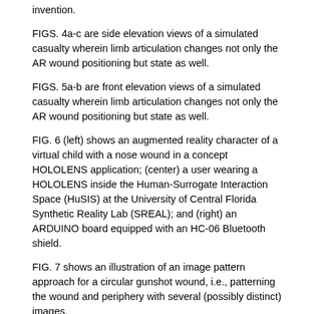invention.
FIGS. 4a-c are side elevation views of a simulated casualty wherein limb articulation changes not only the AR wound positioning but state as well.
FIGS. 5a-b are front elevation views of a simulated casualty wherein limb articulation changes not only the AR wound positioning but state as well.
FIG. 6 (left) shows an augmented reality character of a virtual child with a nose wound in a concept HOLOLENS application; (center) a user wearing a HOLOLENS inside the Human-Surrogate Interaction Space (HuSIS) at the University of Central Florida Synthetic Reality Lab (SREAL); and (right) an ARDUINO board equipped with an HC-06 Bluetooth shield.
FIG. 7 shows an illustration of an image pattern approach for a circular gunshot wound, i.e., patterning the wound and periphery with several (possibly distinct) images.
FIG. 8 is an illustration of the border tracking approach according to an embodiment of the invention.